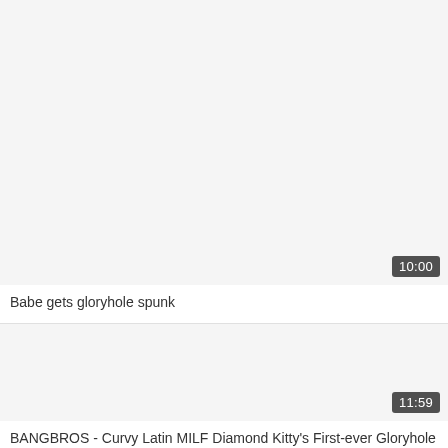[Figure (screenshot): Video thumbnail placeholder, light grey background for first video card]
10:00
Babe gets gloryhole spunk
[Figure (screenshot): Video thumbnail placeholder, light grey background for second video card]
11:59
BANGBROS - Curvy Latin MILF Diamond Kitty's First-ever Gloryhole Experience